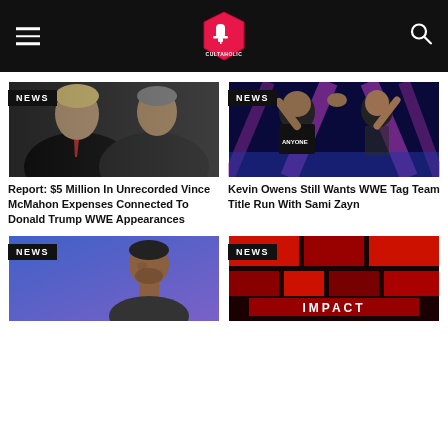Cultaholic
[Figure (photo): Two men in suits facing each other closely — Donald Trump and Vince McMahon]
NEWS
Report: $5 Million In Unrecorded Vince McMahon Expenses Connected To Donald Trump WWE Appearances
[Figure (photo): Kevin Owens and Sami Zayn raising their arms in a WWE ring with blue stage lighting]
NEWS
Kevin Owens Still Wants WWE Tag Team Title Run With Sami Zayn
[Figure (photo): MMA fighter looking to the side with purple/blue background]
NEWS
[Figure (photo): Impact Wrestling logo/stage with red and dark background]
NEWS